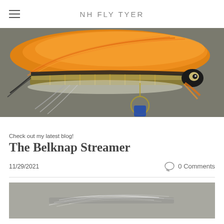NH FLY TYER
[Figure (photo): Close-up photo of a colorful fishing fly (streamer) with bright orange feathers and a black/gold body on a blue vise, against a gray background.]
Check out my latest blog!
The Belknap Streamer
11/29/2021
0 Comments
[Figure (photo): Partial view of another fishing fly (streamer) against a gray background, showing light-colored feathers/hackle.]